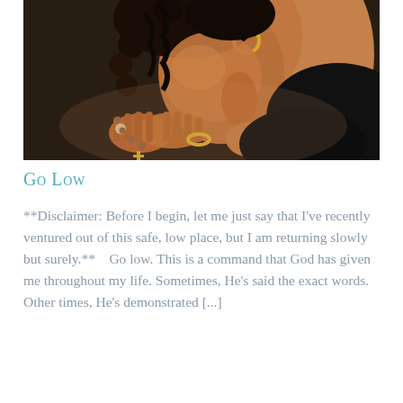[Figure (illustration): Painting of a woman with dark braided/curly hair bowing her head in prayer, hands clasped holding a rosary with a cross, wearing a gold hoop earring and gold bracelet. Close-up devotional artwork with warm brown skin tones against a dark background.]
Go Low
**Disclaimer: Before I begin, let me just say that I’ve recently ventured out of this safe, low place, but I am returning slowly but surely.**    Go low. This is a command that God has given me throughout my life. Sometimes, He’s said the exact words. Other times, He’s demonstrated [...]